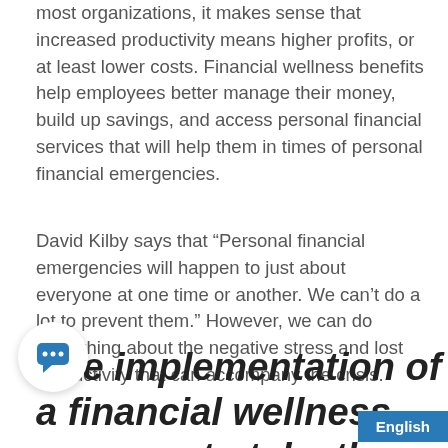most organizations, it makes sense that increased productivity means higher profits, or at least lower costs. Financial wellness benefits help employees better manage their money, build up savings, and access personal financial services that will help them in times of personal financial emergencies.
David Kilby says that “Personal financial emergencies will happen to just about everyone at one time or another. We can’t do a lot to prevent them.” However, we can do something about the negative stress and lost productivity that can accompany the crisis.
The implementation of a financial wellness program to take the sharp edge off an...